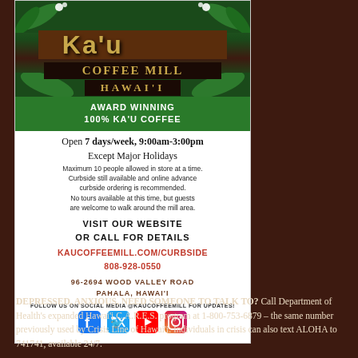[Figure (illustration): Ka'u Coffee Mill Hawai'i advertisement with logo featuring tropical leaves, gold lettering on dark background, green badge saying AWARD WINNING 100% KA'U COFFEE]
Open 7 days/week, 9:00am-3:00pm Except Major Holidays
Maximum 10 people allowed in store at a time. Curbside still available and online advance curbside ordering is recommended. No tours available at this time, but guests are welcome to walk around the mill area.
VISIT OUR WEBSITE OR CALL FOR DETAILS
KAUCOFFEEMILL.COM/CURBSIDE 808-928-0550
96-2694 WOOD VALLEY ROAD PAHALA, HAWAI'I
FOLLOW US ON SOCIAL MEDIA @KAUCOFFEEMILL FOR UPDATES!
DEPRESSED, ANXIOUS, NEED SOMEONE TO TALK TO? Call Department of Health's expanded Hawai'i C.A.R.E.S. program at 1-800-753-6879 – the same number previously used by Crisis Line of Hawai'i. Individuals in crisis can also text ALOHA to 741741, available 24/7.